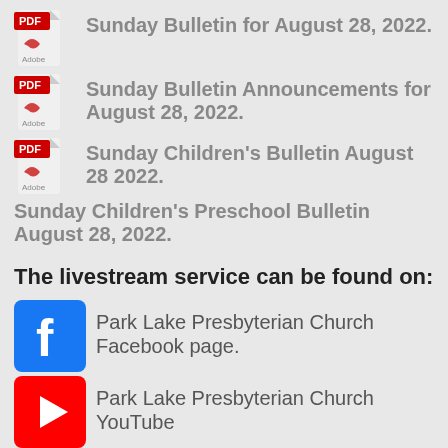Sunday Bulletin for August 28, 2022.
Sunday Bulletin Announcements for August 28, 2022.
Sunday Children's Bulletin August 28 2022.
Sunday Children's Preschool Bulletin August 28, 2022.
The livestream service can be found on:
Park Lake Presbyterian Church Facebook page.
Park Lake Presbyterian Church YouTube